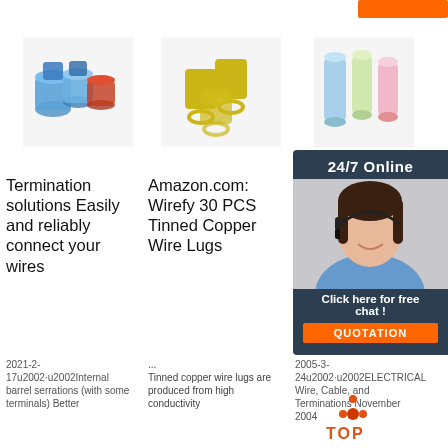[Figure (photo): Blue electrical wire connectors/terminals]
[Figure (photo): Yellow ring terminal wire lugs (30 PCS)]
[Figure (photo): Blue and pink wire connectors/terminals]
[Figure (photo): Customer service agent with headset, 24/7 Online chat panel with QUOTATION button]
Termination solutions Easily and reliably connect your wires
Amazon.com: Wirefy 30 PCS Tinned Copper Wire Lugs
ELECTRICAL WIRE, CABLE, AND TERMINATIONS BASIS OF
2021-2-17u2002·u2002Internal barrel serrations (with some terminals) Better
... Tinned copper wire lugs are produced from high conductivity
2005-3-24u2002·u2002ELECTRICAL Wire, Cable, and Terminations November 2004